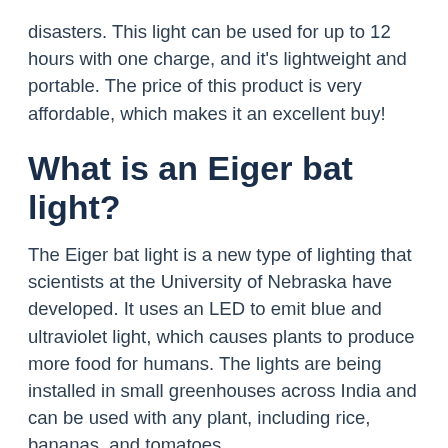disasters. This light can be used for up to 12 hours with one charge, and it's lightweight and portable. The price of this product is very affordable, which makes it an excellent buy!
What is an Eiger bat light?
The Eiger bat light is a new type of lighting that scientists at the University of Nebraska have developed. It uses an LED to emit blue and ultraviolet light, which causes plants to produce more food for humans. The lights are being installed in small greenhouses across India and can be used with any plant, including rice, bananas, and tomatoes.
Read More Top 10 Best Smiths Cremolia Hand